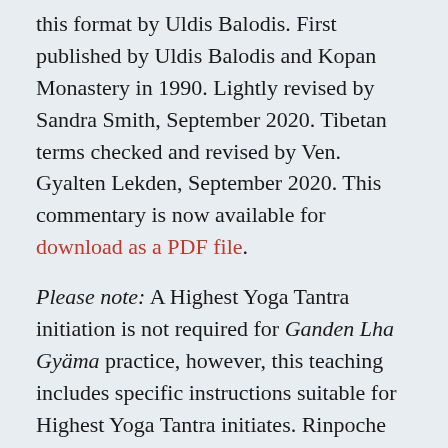this format by Uldis Balodis. First published by Uldis Balodis and Kopan Monastery in 1990. Lightly revised by Sandra Smith, September 2020. Tibetan terms checked and revised by Ven. Gyalten Lekden, September 2020. This commentary is now available for download as a PDF file.
Please note: A Highest Yoga Tantra initiation is not required for Ganden Lha Gyäma practice, however, this teaching includes specific instructions suitable for Highest Yoga Tantra initiates. Rinpoche also teaches on more general lamrim topics including the preliminary practices, refuge and karma.